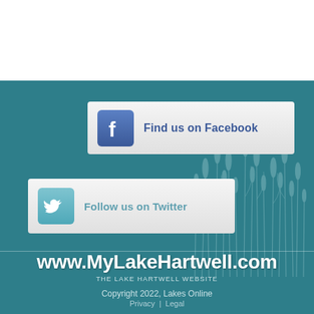[Figure (screenshot): Facebook 'Find us on Facebook' social media button with blue Facebook logo icon on left and text on right, on a light gray background]
[Figure (screenshot): Twitter 'Follow us on Twitter' social media button with teal Twitter bird icon on left and text on right, on a light gray background]
www.MyLakeHartwell.com
THE LAKE HARTWELL WEBSITE
Copyright 2022, Lakes Online
Privacy  |  Legal